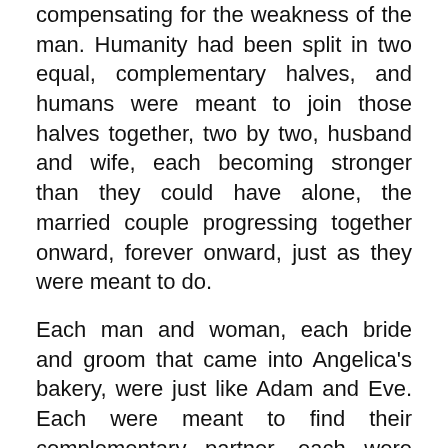compensating for the weakness of the man. Humanity had been split in two equal, complementary halves, and humans were meant to join those halves together, two by two, husband and wife, each becoming stronger than they could have alone, the married couple progressing together onward, forever onward, just as they were meant to do.
Each man and woman, each bride and groom that came into Angelica's bakery, were just like Adam and Eve. Each were meant to find their complementary partner, each were meant to walk the path of life with that complementary partner. Humans, flesh and spirit—with marriage accomplishing the needs of both.
The needs of the flesh—the demands of Darwin, the union of man and woman, the foundation ensuring the survival of the human race. The only union that is actually necessary. The only union that can scale to include all of humanity. Counterfeit unions can be tolerated if kept as a tiny minority, but any society that allowed such counterfeits to grow into the majority would find themselves at the mercy